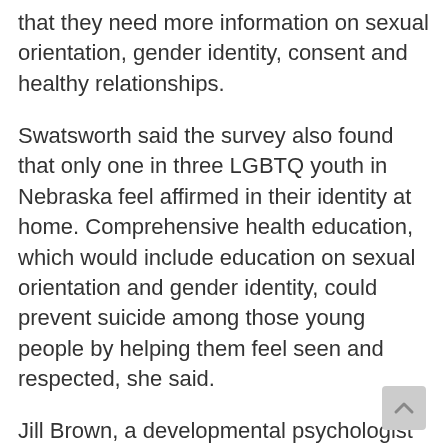that they need more information on sexual orientation, gender identity, consent and healthy relationships.
Swatsworth said the survey also found that only one in three LGBTQ youth in Nebraska feel affirmed in their identity at home. Comprehensive health education, which would include education on sexual orientation and gender identity, could prevent suicide among those young people by helping them feel seen and respected, she said.
Jill Brown, a developmental psychologist and professor at Creighton University, also testified in opposition to the bill. She said comprehensive sex education for public school students is necessary because gaps